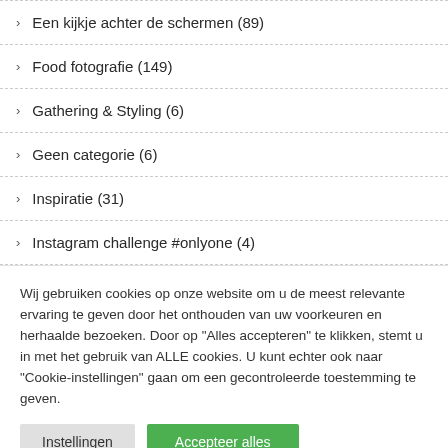Een kijkje achter de schermen (89)
Food fotografie (149)
Gathering & Styling (6)
Geen categorie (6)
Inspiratie (31)
Instagram challenge #onlyone (4)
Wij gebruiken cookies op onze website om u de meest relevante ervaring te geven door het onthouden van uw voorkeuren en herhaalde bezoeken. Door op "Alles accepteren" te klikken, stemt u in met het gebruik van ALLE cookies. U kunt echter ook naar "Cookie-instellingen" gaan om een gecontroleerde toestemming te geven.
Instellingen | Accepteer alles